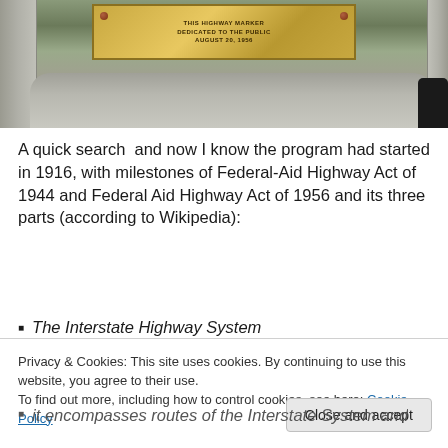[Figure (photo): Close-up photograph of a stone monument or marker with a brass/bronze plaque. The plaque has engraved text. Stone pillars are visible on the sides. A dark figure is partially visible at bottom right.]
A quick search  and now I know the program had started in 1916, with milestones of Federal-Aid Highway Act of 1944 and Federal Aid Highway Act of 1956 and its three parts (according to Wikipedia):
The Interstate Highway System
Privacy & Cookies: This site uses cookies. By continuing to use this website, you agree to their use.
To find out more, including how to control cookies, see here: Cookie Policy
it encompasses routes of the Interstate System and